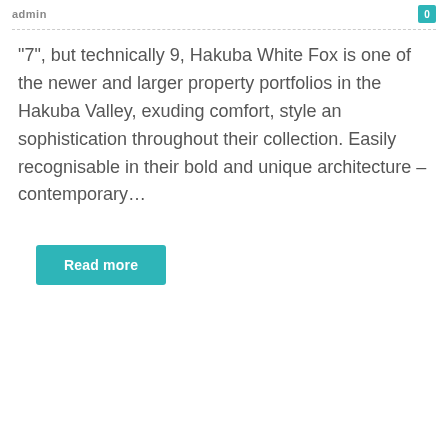admin
“7”, but technically 9, Hakuba White Fox is one of the newer and larger property portfolios in the Hakuba Valley, exuding comfort, style an sophistication throughout their collection. Easily recognisable in their bold and unique architecture – contemporary…
Read more